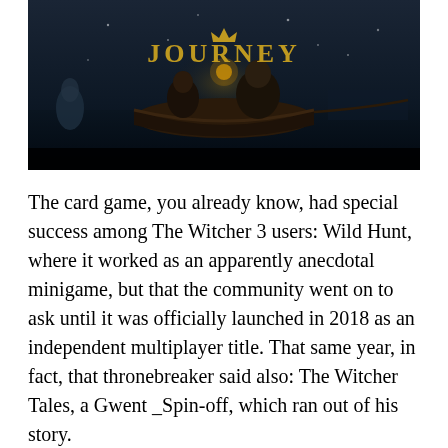[Figure (illustration): Game artwork showing a dark fantasy boat scene with figures, lantern light, and the title 'JOURNEY' displayed with a crown emblem above it, in dark blue and black tones.]
The card game, you already know, had special success among The Witcher 3 users: Wild Hunt, where it worked as an apparently anecdotal minigame, but that the community went on to ask until it was officially launched in 2018 as an independent multiplayer title. That same year, in fact, that thronebreaker said also: The Witcher Tales, a Gwent _Spin-off, which ran out of his story.